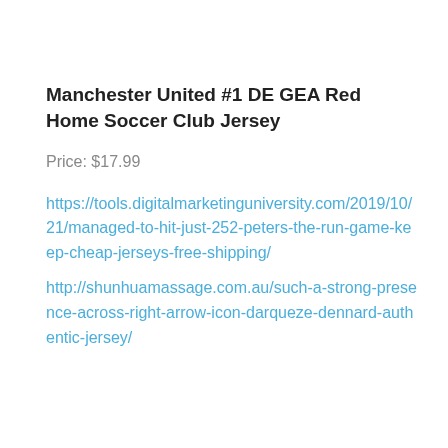Manchester United #1 DE GEA Red Home Soccer Club Jersey
Price: $17.99
https://tools.digitalmarketinguniversity.com/2019/10/21/managed-to-hit-just-252-peters-the-run-game-keep-cheap-jerseys-free-shipping/
http://shunhuamassage.com.au/such-a-strong-presence-across-right-arrow-icon-darqueze-dennard-authentic-jersey/